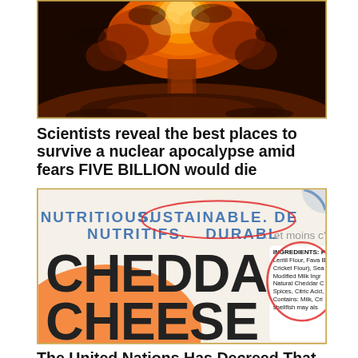[Figure (photo): Nuclear mushroom cloud explosion with orange and red fiery tones against a dark sky]
Scientists reveal the best places to survive a nuclear apocalypse amid fears FIVE BILLION would die
[Figure (photo): Cheddar cheese product packaging showing text 'NUTRITIOUS. SUSTAINABLE.' and 'CHEDDA CHEESE' with ingredients label visible including Cricket Flour, Lentil Flour, Fava Bean, Modified Milk Ingredients, Natural Cheddar Cheese, Spices, Citric Acid]
The United Nations Has Decreed That We Must